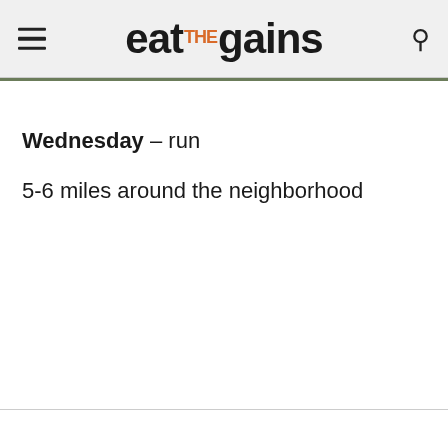eat THE gains
Wednesday – run
5-6 miles around the neighborhood